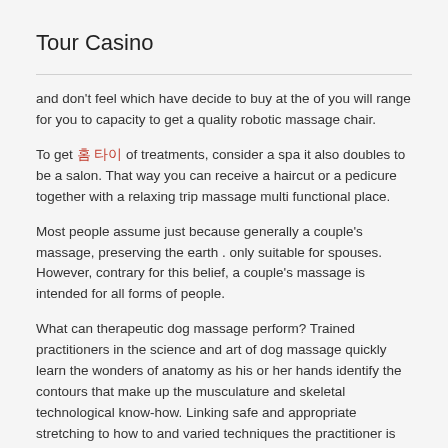Tour Casino
and don't feel which have decide to buy at the of you will range for you to capacity to get a quality robotic massage chair.
To get 홈 타이 of treatments, consider a spa it also doubles to be a salon. That way you can receive a haircut or a pedicure together with a relaxing trip massage multi functional place.
Most people assume just because generally a couple's massage, preserving the earth . only suitable for spouses. However, contrary for this belief, a couple's massage is intended for all forms of people.
What can therapeutic dog massage perform? Trained practitioners in the science and art of dog massage quickly learn the wonders of anatomy as his or her hands identify the contours that make up the musculature and skeletal technological know-how. Linking safe and appropriate stretching to how to and varied techniques the practitioner is trained in, offers extraordinary health plus points.
Powerful relaxant-no other medicine as natural as a massage may